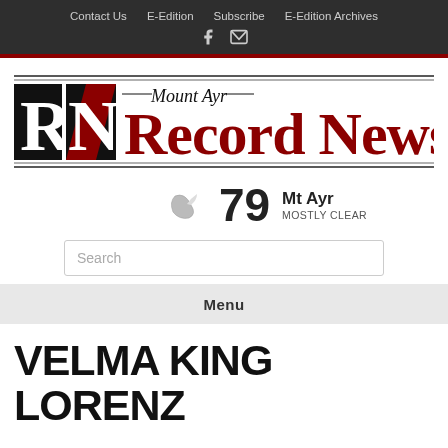Contact Us   E-Edition   Subscribe   E-Edition Archives
[Figure (logo): Mount Ayr Record News newspaper logo with stylized RN letters in black and red]
79  Mt Ayr  MOSTLY CLEAR
Search
Menu
VELMA KING LORENZ